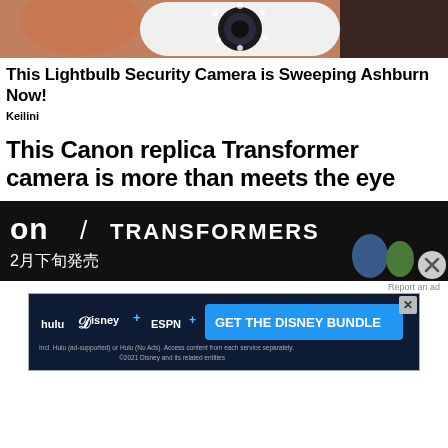[Figure (photo): Close-up photo of a hand holding a white lightbulb-style security camera with a circular lens and LED ring]
This Lightbulb Security Camera is Sweeping Ashburn Now!
Keilini
This Canon replica Transformer camera is more than meets the eye
[Figure (photo): Dark promotional image showing Transformers branding with text 'on / TRANSFORMERS' and '2月下旬発売' with Transformers figures visible, and a close X button in bottom right]
Report an ad
[Figure (screenshot): Disney Bundle advertisement banner featuring Hulu, Disney+, and ESPN+ logos with text GET THE DISNEY BUNDLE and disclaimer text]